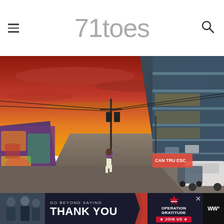71toes
[Figure (photo): Street scene with a vivid orange and red sunset sky. A person walks down the center of a city street. On the left is a building with colorful graffiti murals. On the right is a modern multi-story glass building with parking levels. Power lines cross the sky. Parked and moving cars line the street.]
[Figure (photo): Advertisement banner: GO BEYOND SAYING THANK YOU — Operation Gratitude JOIN US. Features people in military/police uniforms on the left side and Operation Gratitude logo on the right. A close button X is visible. WW logo visible on far right.]